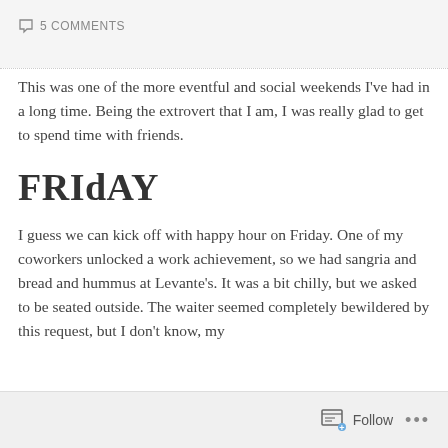5 COMMENTS
This was one of the more eventful and social weekends I've had in a long time. Being the extrovert that I am, I was really glad to get to spend time with friends.
FRIdAY
I guess we can kick off with happy hour on Friday. One of my coworkers unlocked a work achievement, so we had sangria and bread and hummus at Levante's. It was a bit chilly, but we asked to be seated outside. The waiter seemed completely bewildered by this request, but I don't know, my
Follow ...